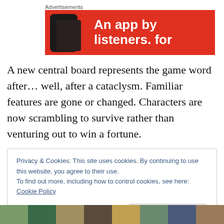[Figure (screenshot): Red advertisement banner with a phone image on the left and bold white text reading 'An app by listeners. for' on the right, labeled 'Advertisements' above]
A new central board represents the game word after… well, after a cataclysm. Familiar features are gone or changed. Characters are now scrambling to survive rather than venturing out to win a fortune.
Privacy & Cookies: This site uses cookies. By continuing to use this website, you agree to their use.
To find out more, including how to control cookies, see here: Cookie Policy

Close and accept
[Figure (illustration): Bottom strip showing partial images of book/game covers in various colors]